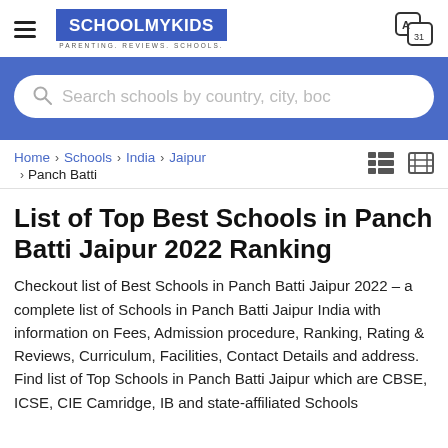SCHOOLMYKIDS — PARENTING. REVIEWS. SCHOOLS.
[Figure (screenshot): Search bar with blue background: 'Search schools by country, city, boc']
Home › Schools › India › Jaipur › Panch Batti
List of Top Best Schools in Panch Batti Jaipur 2022 Ranking
Checkout list of Best Schools in Panch Batti Jaipur 2022 – a complete list of Schools in Panch Batti Jaipur India with information on Fees, Admission procedure, Ranking, Rating & Reviews, Curriculum, Facilities, Contact Details and address. Find list of Top Schools in Panch Batti Jaipur which are CBSE, ICSE, CIE Camridge, IB and state-affiliated Schools